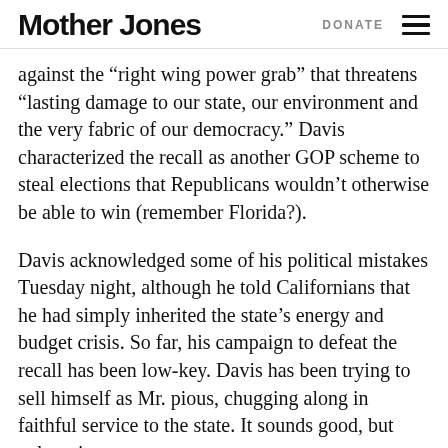Mother Jones   DONATE
against the “right wing power grab” that threatens “lasting damage to our state, our environment and the very fabric of our democracy.” Davis characterized the recall as another GOP scheme to steal elections that Republicans wouldn’t otherwise be able to win (remember Florida?).
Davis acknowledged some of his political mistakes Tuesday night, although he told Californians that he had simply inherited the state’s energy and budget crisis. So far, his campaign to defeat the recall has been low-key. Davis has been trying to sell himself as Mr. pious, chugging along in faithful service to the state. It sounds good, but columnist